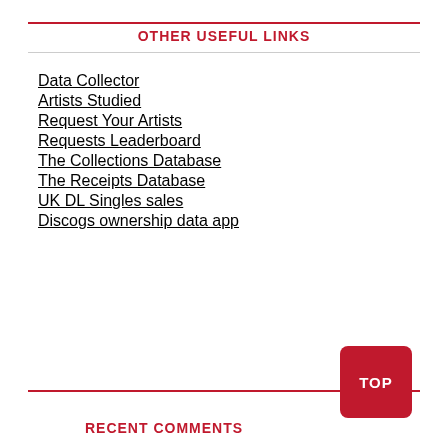OTHER USEFUL LINKS
Data Collector
Artists Studied
Request Your Artists
Requests Leaderboard
The Collections Database
The Receipts Database
UK DL Singles sales
Discogs ownership data app
RECENT COMMENTS